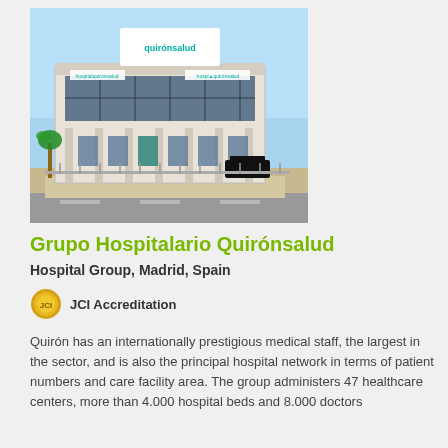[Figure (photo): Exterior photo of Grupo Hospitalario Quirónsalud building in Madrid, a modern multi-story healthcare facility with large windows, Quirónsalud signage, palm trees, parked cars, and a road in the foreground under a clear blue sky.]
Grupo Hospitalario Quirónsalud
Hospital Group, Madrid, Spain
JCI Accreditation
Quirón has an internationally prestigious medical staff, the largest in the sector, and is also the principal hospital network in terms of patient numbers and care facility area. The group administers 47 healthcare centers, more than 4.000 hospital beds and 8.000 doctors